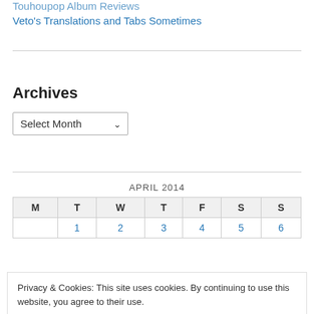Touhoupop Album Reviews
Veto's Translations and Tabs Sometimes
Archives
[Figure (other): Select Month dropdown control]
| M | T | W | T | F | S | S |
| --- | --- | --- | --- | --- | --- | --- |
|  | 1 | 2 | 3 | 4 | 5 | 6 |
Privacy & Cookies: This site uses cookies. By continuing to use this website, you agree to their use.
To find out more, including how to control cookies, see here: Cookie Policy
Close and accept